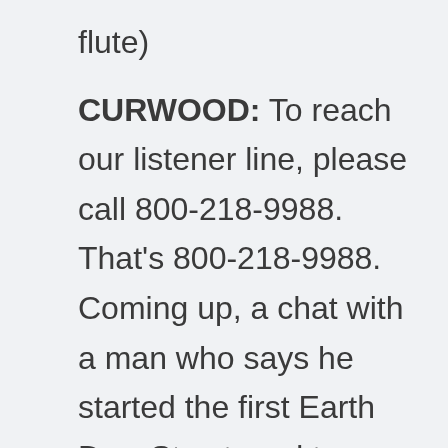flute)
CURWOOD: To reach our listener line, please call 800-218-9988. That's 800-218-9988. Coming up, a chat with a man who says he started the first Earth Day. Stay tuned to Living on Earth.
(Music up and under)